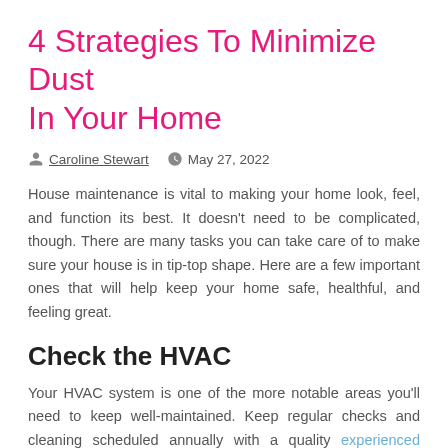4 Strategies To Minimize Dust In Your Home
Caroline Stewart   May 27, 2022
House maintenance is vital to making your home look, feel, and function its best. It doesn't need to be complicated, though. There are many tasks you can take care of to make sure your house is in tip-top shape. Here are a few important ones that will help keep your home safe, healthful, and feeling great.
Check the HVAC
Your HVAC system is one of the more notable areas you'll need to keep well-maintained. Keep regular checks and cleaning scheduled annually with a quality experienced HVAC technician. Early detection of issues could save you thousands in the long run.